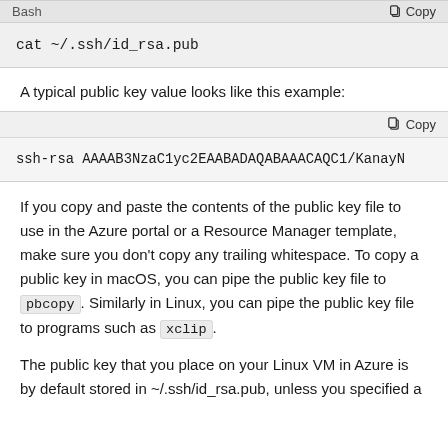[Figure (screenshot): Code block with bash header and copy button showing: cat ~/.ssh/id_rsa.pub]
A typical public key value looks like this example:
[Figure (screenshot): Code block with Copy button showing: ssh-rsa AAAAB3NzaC1yc2EAABADAQABAAACAQC1/KanayN...]
If you copy and paste the contents of the public key file to use in the Azure portal or a Resource Manager template, make sure you don't copy any trailing whitespace. To copy a public key in macOS, you can pipe the public key file to pbcopy. Similarly in Linux, you can pipe the public key file to programs such as xclip.
The public key that you place on your Linux VM in Azure is by default stored in ~/.ssh/id_rsa.pub, unless you specified a